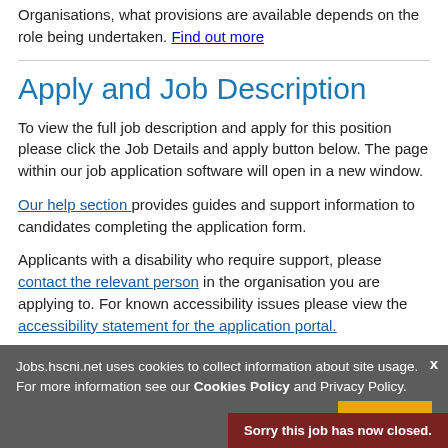Organisations, what provisions are available depends on the role being undertaken. Find out more
Apply and Job Description
To view the full job description and apply for this position please click the Job Details and apply button below. The page within our job application software will open in a new window.
Our help section provides guides and support information to candidates completing the application form.
Applicants with a disability who require support, please contact the relevant person in the organisation you are applying to. For known accessibility issues please view the accessibility statement for the application portal.
Jobs.hscni.net uses cookies to collect information about site usage. For more information see our Cookies Policy and Privacy Policy.
Sorry this job has now closed.